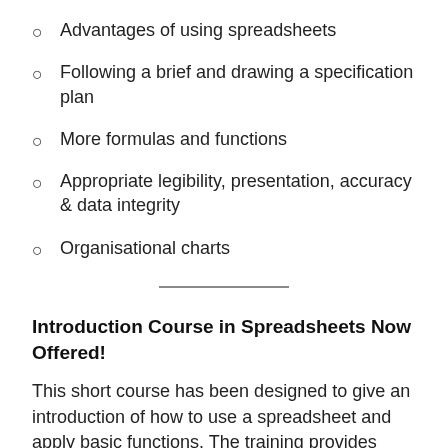Advantages of using spreadsheets
Following a brief and drawing a specification plan
More formulas and functions
Appropriate legibility, presentation, accuracy & data integrity
Organisational charts
Introduction Course in Spreadsheets Now Offered!
This short course has been designed to give an introduction of how to use a spreadsheet and apply basic functions. The training provides learners with skills and competence while